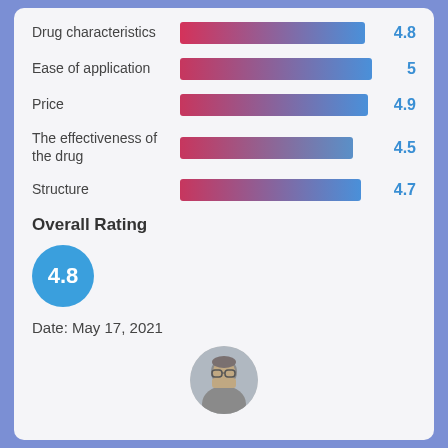[Figure (bar-chart): Drug Rating Categories]
Overall Rating
4.8
Date: May 17, 2021
[Figure (photo): Avatar photo of a person]